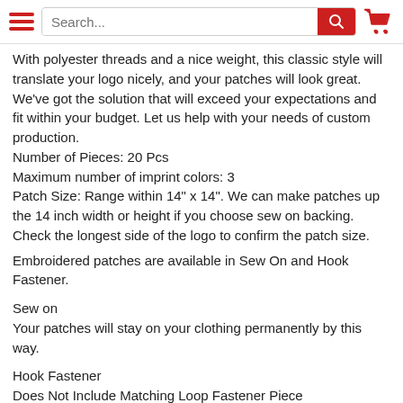Search...
With polyester threads and a nice weight, this classic style will translate your logo nicely, and your patches will look great. We've got the solution that will exceed your expectations and fit within your budget. Let us help with your needs of custom production.
Number of Pieces: 20 Pcs
Maximum number of imprint colors: 3
Patch Size: Range within 14" x 14". We can make patches up the 14 inch width or height if you choose sew on backing. Check the longest side of the logo to confirm the patch size.
Embroidered patches are available in Sew On and Hook Fastener.
Sew on
Your patches will stay on your clothing permanently by this way.
Hook Fastener
Does Not Include Matching Loop Fastener Piece
You can swap the patches easily
No sewing required, allow you to attach them and removing the easily